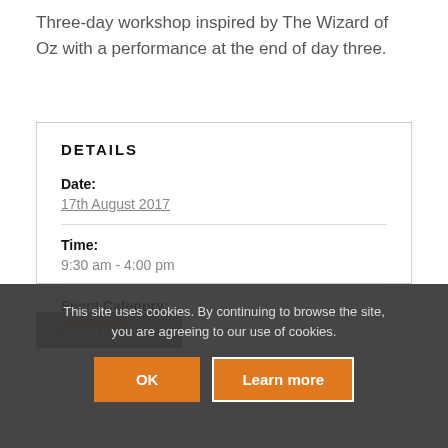Three-day workshop inspired by The Wizard of Oz with a performance at the end of day three.
DETAILS
Date:
17th August 2017
Time:
9:30 am - 4:00 pm
Event Category:
Rehearsal
This site uses cookies. By continuing to browse the site, you are agreeing to our use of cookies.
OK
Learn more